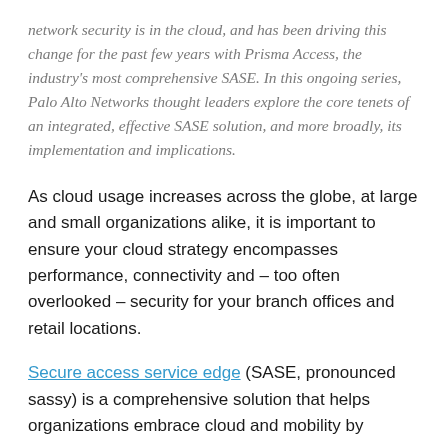network security is in the cloud, and has been driving this change for the past few years with Prisma Access, the industry's most comprehensive SASE. In this ongoing series, Palo Alto Networks thought leaders explore the core tenets of an integrated, effective SASE solution, and more broadly, its implementation and implications.
As cloud usage increases across the globe, at large and small organizations alike, it is important to ensure your cloud strategy encompasses performance, connectivity and – too often overlooked – security for your branch offices and retail locations.
Secure access service edge (SASE, pronounced sassy) is a comprehensive solution that helps organizations embrace cloud and mobility by